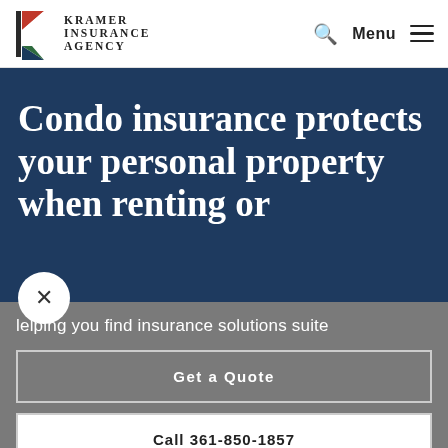[Figure (logo): Kramer Insurance Agency logo with stylized K in red, white, and dark blue/green]
Kramer Insurance Agency — Menu
Condo insurance protects your personal property when renting or
helping you find insurance solutions suite
Get a Quote
Call 361-850-1857